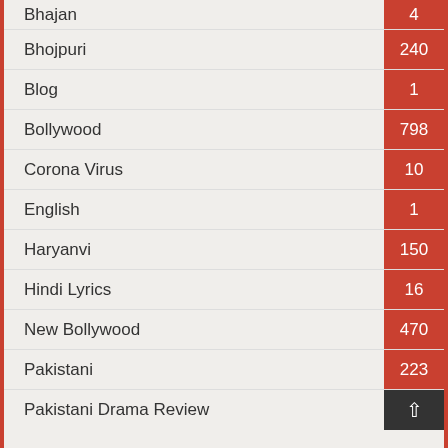Bhajan — 4
Bhojpuri — 240
Blog — 1
Bollywood — 798
Corona Virus — 10
English — 1
Haryanvi — 150
Hindi Lyrics — 16
New Bollywood — 470
Pakistani — 223
Pakistani Drama Review